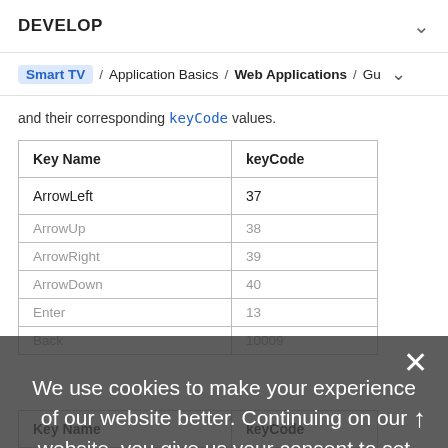DEVELOP
Smart TV / Application Basics / Web Applications / Gu
and their corresponding keyCode values.
| Key Name | keyCode |
| --- | --- |
| ArrowLeft | 37 |
| ArrowUp | 38 |
| ArrowRight | 39 |
| ArrowDown | 40 |
| Enter | 13 |
| Back | 10009 |
| Key Name | keyCode |
| --- | --- |
We use cookies to make your experience of our website better. Continuing on our website, you give us your consent to set these cookies. Find out more